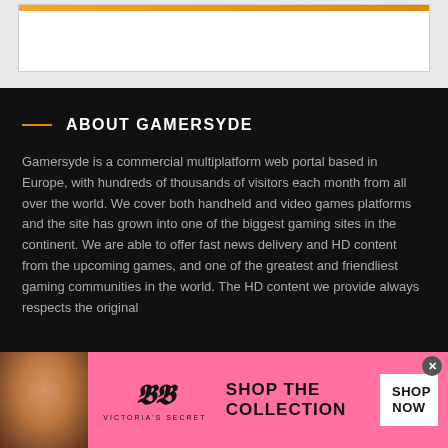[Figure (screenshot): Top section with light gray background and white inner box with orange bar at top]
ABOUT GAMERSYDE
Gamersyde is a commercial multiplatform web portal based in Europe, with hundreds of thousands of visitors each month from all over the world. We cover both handheld and video games platforms and the site has grown into one of the biggest gaming sites in the continent. We are able to offer fast news delivery and HD content from the upcoming games, and one of the greatest and friendliest gaming communities in the world. The HD content we provide always respects the original
[Figure (photo): Victoria's Secret advertisement banner with pink background, model photo, VS logo, SHOP THE COLLECTION text, and SHOP NOW button]